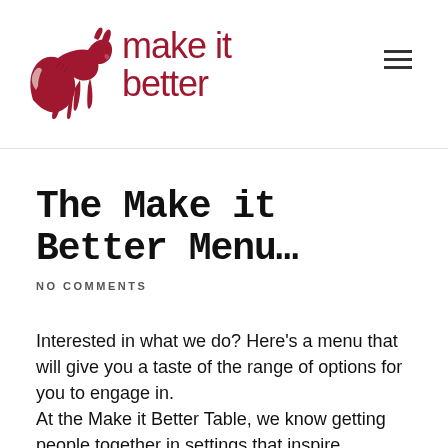make it better
The Make it Better Menu…
NO COMMENTS
Interested in what we do? Here's a menu that will give you a taste of the range of options for you to engage in. At the Make it Better Table, we know getting people together in settings that inspire productive conversations will challenge the status quo.